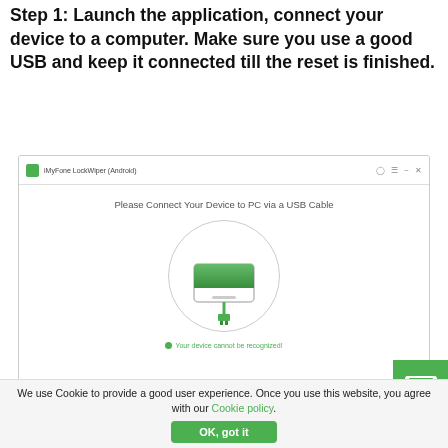Step 1: Launch the application, connect your device to a computer. Make sure you use a good USB and keep it connected till the reset is finished.
[Figure (screenshot): Screenshot of iMyFone LockWiper (Android) application showing 'Please Connect Your Device to PC via a USB Cable' with a circular illustration of a device connected via USB cable, and a status message 'Your device cannot be recognized!']
We use Cookie to provide a good user experience. Once you use this website, you agree with our Cookie policy.
OK, got it